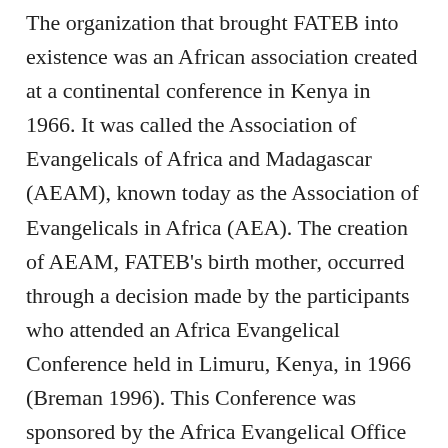The organization that brought FATEB into existence was an African association created at a continental conference in Kenya in 1966. It was called the Association of Evangelicals of Africa and Madagascar (AEAM), known today as the Association of Evangelicals in Africa (AEA). The creation of AEAM, FATEB's birth mother, occurred through a decision made by the participants who attended an Africa Evangelical Conference held in Limuru, Kenya, in 1966 (Breman 1996). This Conference was sponsored by the Africa Evangelical Office (AEO) that had been established in 1962 as a joint effort by two North American mission associations: the Evangelical Fellowship of Mission Agencies (EFMA), established in 1945 as the mission affiliate of the National Association of Evangelicals (NAE), and the Interdenominational Foreign Missions Association (IFMA), formed in 1917 for mission societies without denominational affiliations. (AEAM, now AEA, is a regional member of the World Evangelical Alliance (WEA). The World